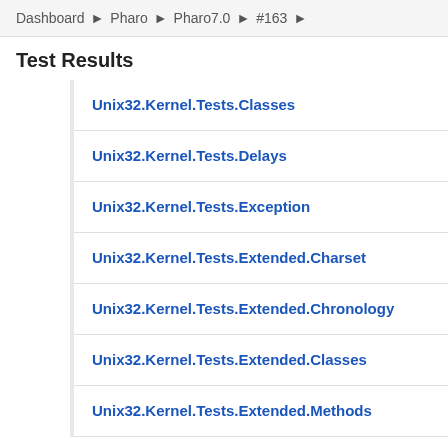Dashboard ▶ Pharo ▶ Pharo7.0 ▶ #163 ▶
Test Results
Unix32.Kernel.Tests.Classes
Unix32.Kernel.Tests.Delays
Unix32.Kernel.Tests.Exception
Unix32.Kernel.Tests.Extended.Charset
Unix32.Kernel.Tests.Extended.Chronology
Unix32.Kernel.Tests.Extended.Classes
Unix32.Kernel.Tests.Extended.Methods